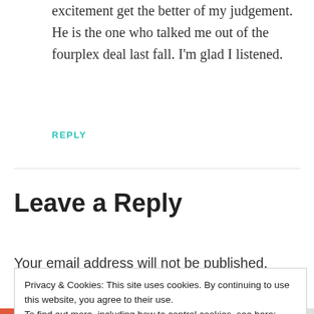excitement get the better of my judgement. He is the one who talked me out of the fourplex deal last fall. I'm glad I listened.
REPLY
Leave a Reply
Your email address will not be published. Required fields
Privacy & Cookies: This site uses cookies. By continuing to use this website, you agree to their use.
To find out more, including how to control cookies, see here: Cookie Policy
Close and accept